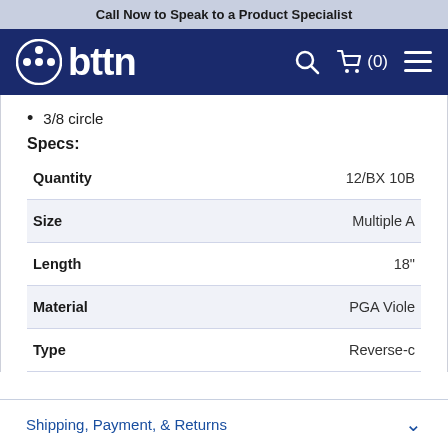Call Now to Speak to a Product Specialist
[Figure (logo): bttn logo with circular icon on dark navy background, with search, cart (0), and menu icons]
3/8 circle
Specs:
|  |  |
| --- | --- |
| Quantity | 12/BX 10B |
| Size | Multiple A |
| Length | 18" |
| Material | PGA Viole |
| Type | Reverse-c |
Shipping, Payment, & Returns